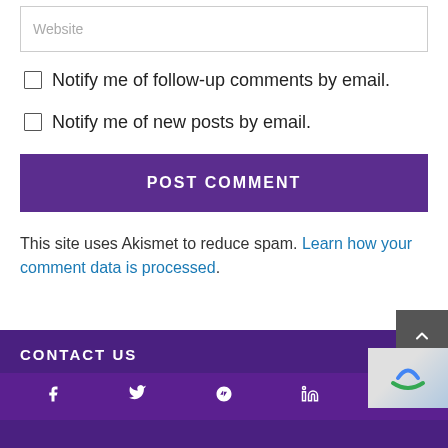Website
Notify me of follow-up comments by email.
Notify me of new posts by email.
POST COMMENT
This site uses Akismet to reduce spam. Learn how your comment data is processed.
CONTACT US
Social icons: facebook, twitter, pinterest, linkedin, email